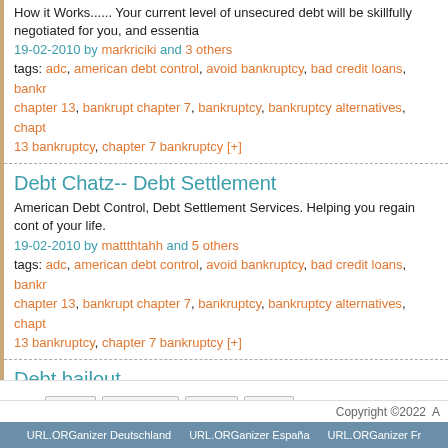How it Works...... Your current level of unsecured debt will be skillfully negotiated for you, and essentia
19-02-2010 by markriciki and 3 others
tags: adc, american debt control, avoid bankruptcy, bad credit loans, bankr chapter 13, bankrupt chapter 7, bankruptcy, bankruptcy alternatives, chapt 13 bankruptcy, chapter 7 bankruptcy [+]
Debt Chatz-- Debt Settlement
American Debt Control, Debt Settlement Services. Helping you regain cont of your life.
19-02-2010 by mattthtahh and 5 others
tags: adc, american debt control, avoid bankruptcy, bad credit loans, bankr chapter 13, bankrupt chapter 7, bankruptcy, bankruptcy alternatives, chapt 13 bankruptcy, chapter 7 bankruptcy [+]
Debt bailout
American Debt Control, Debt Settlement Services. Helping you regain cont of your life.
20-02-2010 by malvarezme and 5 others
tags: adc, american debt control, avoid bankruptcy, bad credit loans, bankr chapter 13, bankrupt chapter 7, bankruptcy, bankruptcy alternatives, chapt 13 bankruptcy, chapter 7 bankruptcy [+]
First  Previous  Next  Last  Page 1 of 1
Copyright ©2022  A
URL.ORGanizer Deutschland  URL.ORGanizer España  URL.ORGanizer Fr